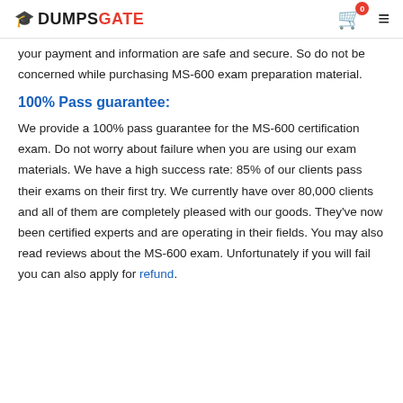DUMPSGATE
your payment and information are safe and secure. So do not be concerned while purchasing MS-600 exam preparation material.
100% Pass guarantee:
We provide a 100% pass guarantee for the MS-600 certification exam. Do not worry about failure when you are using our exam materials. We have a high success rate: 85% of our clients pass their exams on their first try. We currently have over 80,000 clients and all of them are completely pleased with our goods. They've now been certified experts and are operating in their fields. You may also read reviews about the MS-600 exam. Unfortunately if you will fail you can also apply for refund.